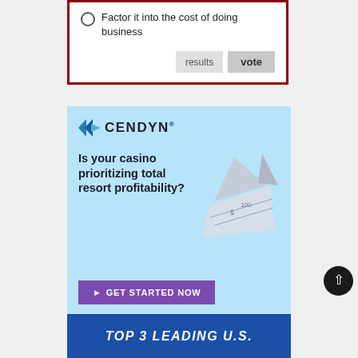[Figure (screenshot): Poll widget showing option 'Factor it into the cost of doing business' with a radio button, and two buttons: 'results' and 'vote', surrounded by a dark red border]
[Figure (illustration): Cendyn advertisement on light blue background showing logo, tagline 'Is your casino prioritizing total resort profitability?', paper boat made of money, and purple 'GET STARTED NOW' button]
[Figure (screenshot): Bottom blue banner section beginning with 'TOP 3 LEADING U.S.' text in white bold italic letters on dark blue patterned background]